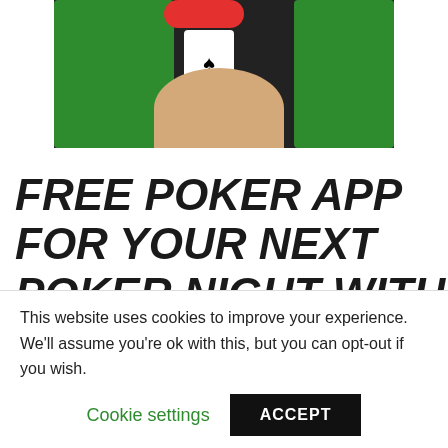[Figure (photo): A photo showing hands using a poker mobile app on smartphones with green card game interface and a red button overlay visible]
FREE POKER APP FOR YOUR NEXT POKER NIGHT WITH FRIENDS
This website uses cookies to improve your experience. We'll assume you're ok with this, but you can opt-out if you wish.
Cookie settings   ACCEPT